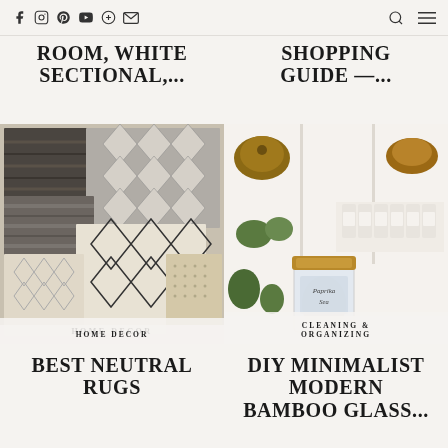Social media icons: Facebook, Instagram, Pinterest, YouTube, Bloglovin, Email | Search icon | Menu icon
ROOM, WHITE SECTIONAL,...
SHOPPING GUIDE —...
[Figure (photo): Collage of neutral-toned area rugs with geometric patterns, overlapping each other]
HOME DECOR
[Figure (photo): Organized white shelving unit with kitchen items, cookware, jars, and plants; hand holding a labeled bamboo-lid glass jar in foreground]
CLEANING & ORGANIZING
BEST NEUTRAL RUGS
DIY MINIMALIST MODERN BAMBOO GLASS...